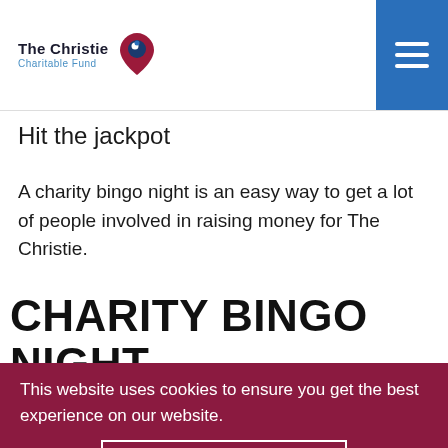[Figure (logo): The Christie Charitable Fund logo with heart/pin icon]
Hit the jackpot
A charity bingo night is an easy way to get a lot of people involved in raising money for The Christie.
CHARITY BINGO NIGHT
This website uses cookies to ensure you get the best experience on our website.
I ACCEPT ALL COOKIES